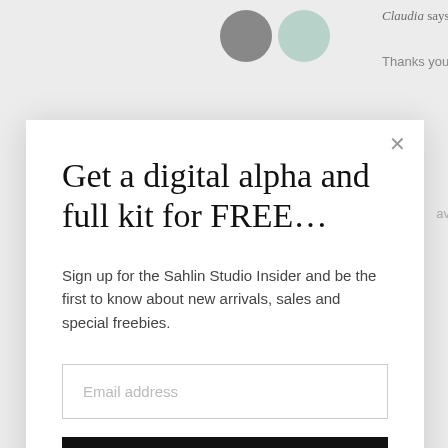[Figure (illustration): Two overlapping avatar circles (gray and mint/teal) representing user profile images, partially visible behind modal]
Claudia says:
Thanks you so much for the freebies, t
Get a digital alpha and full kit for FREE…
Sign up for the Sahlin Studio Insider and be the first to know about new arrivals, sales and special freebies.
Email address
SEND IT TO ME